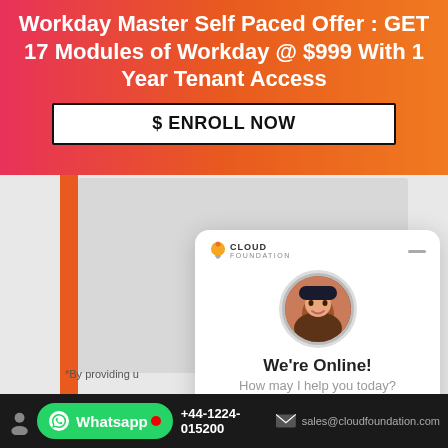Workday Master Self Paced Offer : GET 17 Modules of Workday @ $999 With 1 Year Tenant Access
$ ENROLL NOW
*By providing u
[Figure (screenshot): Chat widget from Cloud Foundation showing 'We're Online!' with agent photo, subtitle 'How may I help you today?' and a blue 'Chat now' button]
We're Online!
How may I help you today?
Chat now
Whatsapp  +44-1224-015200  sales@cloudfoundation.com